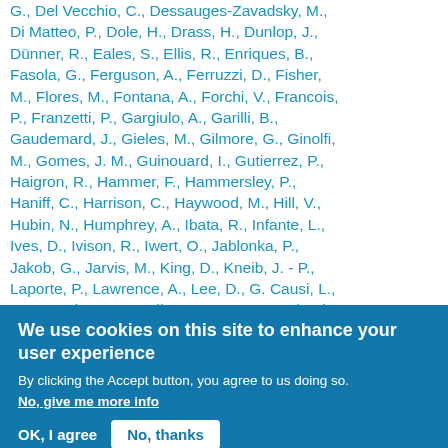G., Del Vecchio, C., Dessauges-Zavadsky, M., Di Matteo, P., Dole, H., Drass, H., Dunlop, J., Dünner, R., Eales, S., Ellis, R., Enriques, B., Fasola, G., Ferguson, A., Ferruzzi, D., Fisher, M., Flores, M., Fontana, A., Forchi, V., Francois, P., Franzetti, P., Gargiulo, A., Garilli, B., Gaudemard, J., Gieles, M., Gilmore, G., Ginolfi, M., Gomes, J. M., Guinouard, I., Gutierrez, P., Haigron, R., Hammer, F., Hammersley, P., Haniff, C., Harrison, C., Haywood, M., Hill, V., Hubin, N., Humphrey, A., Ibata, R., Infante, L., Ives, D., Ivison, R., Iwert, O., Jablonka, P., Jakob, G., Jarvis, M., King, D., Kneib, J. - P., Laporte, P., Lawrence, A., Lee, D., G. Causi, L., Lorenzoni, S., Lucatello, S., Luco, Y., Macleod,
We use cookies on this site to enhance your user experience
By clicking the Accept button, you agree to us doing so.
No, give me more info
OK, I agree   No, thanks